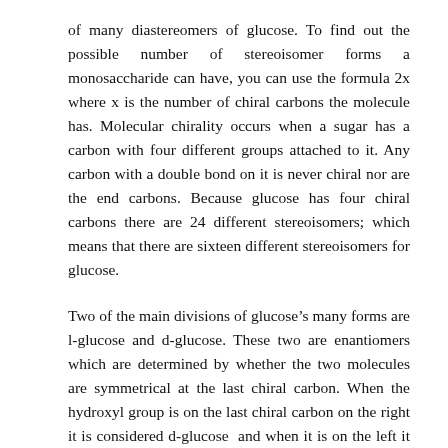of many diastereomers of glucose. To find out the possible number of stereoisomer forms a monosaccharide can have, you can use the formula 2x where x is the number of chiral carbons the molecule has. Molecular chirality occurs when a sugar has a carbon with four different groups attached to it. Any carbon with a double bond on it is never chiral nor are the end carbons. Because glucose has four chiral carbons there are 24 different stereoisomers; which means that there are sixteen different stereoisomers for glucose.
Two of the main divisions of glucose's many forms are l-glucose and d-glucose. These two are enantiomers which are determined by whether the two molecules are symmetrical at the last chiral carbon. When the hydroxyl group is on the last chiral carbon on the right it is considered d-glucose  and when it is on the left it is classified as l-glucose. The “d” means that the glucose rotates polarized light to the right (dextrorotatory) and the